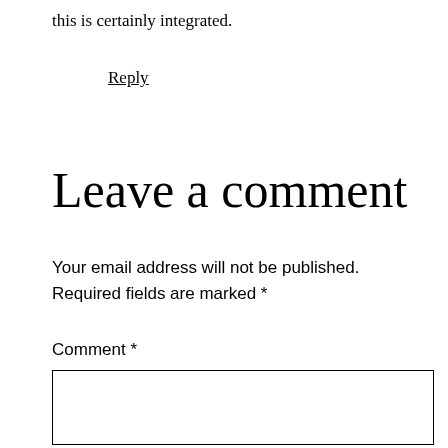this is certainly integrated.
Reply
Leave a comment
Your email address will not be published. Required fields are marked *
Comment *